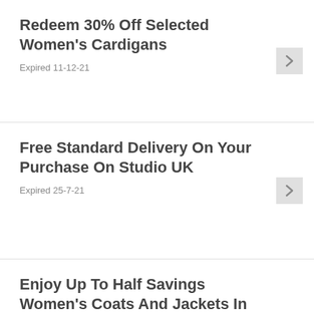Redeem 30% Off Selected Women's Cardigans
Expired 11-12-21
Free Standard Delivery On Your Purchase On Studio UK
Expired 25-7-21
Enjoy Up To Half Savings Women's Coats And Jackets In The Clearance At Studio
Expired 9-7-21